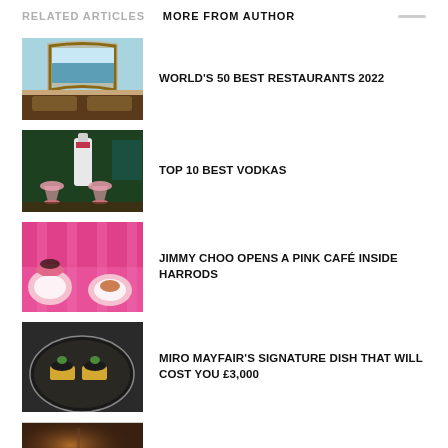RELATED ARTICLES   MORE FROM AUTHOR
WORLD'S 50 BEST RESTAURANTS 2022
TOP 10 BEST VODKAS
JIMMY CHOO OPENS A PINK CAFÉ INSIDE HARRODS
MIRO MAYFAIR'S SIGNATURE DISH THAT WILL COST YOU £3,000